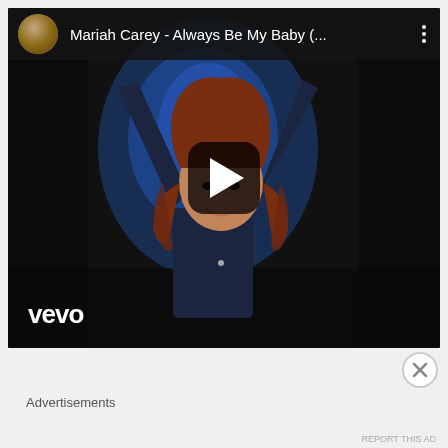[Figure (screenshot): YouTube/Vevo embedded video player showing Mariah Carey - Always Be My Baby music video thumbnail. Dark background with a woman with curly auburn hair raising her arms, blue light behind her. Vevo logo in bottom left. Play button overlay in center. Video title and avatar in header bar.]
Advertisements
REPORT THIS AD